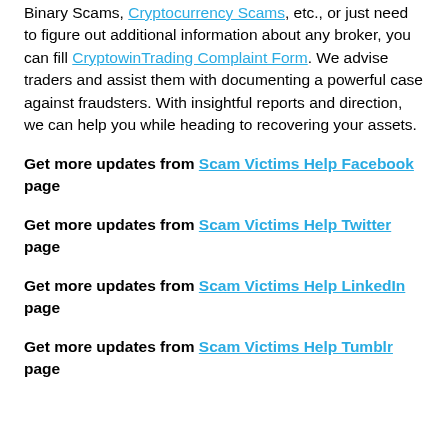Binary Scams, Cryptocurrency Scams, etc., or just need to figure out additional information about any broker, you can fill CryptowinTrading Complaint Form. We advise traders and assist them with documenting a powerful case against fraudsters. With insightful reports and direction, we can help you while heading to recovering your assets.
Get more updates from Scam Victims Help Facebook page
Get more updates from Scam Victims Help Twitter page
Get more updates from Scam Victims Help LinkedIn page
Get more updates from Scam Victims Help Tumblr page